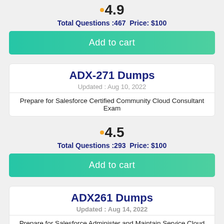4.9
Total Questions :467  Price: $100
Add to cart
ADX-271 Dumps
Updated : Aug 10, 2022
Prepare for Salesforce Certified Community Cloud Consultant Exam
4.5
Total Questions :293  Price: $100
Add to cart
ADX261 Dumps
Updated : Aug 14, 2022
Prepare for Salesforce Administer and Maintain Service Cloud Exam